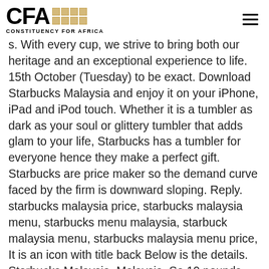CFA CONSTITUENCY FOR AFRICA
s. With every cup, we strive to bring both our heritage and an exceptional experience to life. 15th October (Tuesday) to be exact. Download Starbucks Malaysia and enjoy it on your iPhone, iPad and iPod touch. Whether it is a tumbler as dark as your soul or glittery tumbler that adds glam to your life, Starbucks has a tumbler for everyone hence they make a perfect gift. Starbucks are price maker so the demand curve faced by the firm is downward sloping. Reply. starbucks malaysia price, starbucks malaysia menu, starbucks menu malaysia, starbuck malaysia menu, starbucks malaysia menu price, It is an icon with title back Below is the details. Starbucks Malaysia, Malaysia. So 10 pounds would cost between $99.50 and $140.00. Starbucks price, harga in Malaysia - lelong - List of products for sale, auction, wtb or wts for our supplier / seller Starbucks Malaysia sure knows